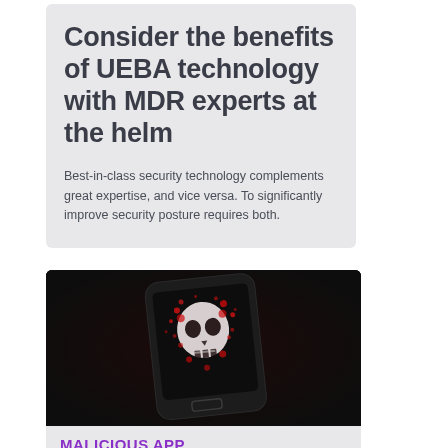Consider the benefits of UEBA technology with MDR experts at the helm
Best-in-class security technology complements great expertise, and vice versa. To significantly improve security posture requires both.
[Figure (photo): A smartphone lying flat with a skull-and-crossbones image made of red splatter on its screen, suggesting malware or a malicious app threat.]
MALICIOUS APP